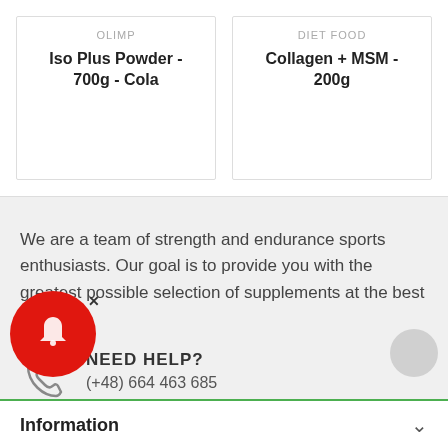OLIMP
Iso Plus Powder - 700g - Cola
DIET FOOD
Collagen + MSM - 200g
We are a team of strength and endurance sports enthusiasts. Our goal is to provide you with the greatest possible selection of supplements at the best prices.
NEED HELP?
(+48) 664 463 685
Information